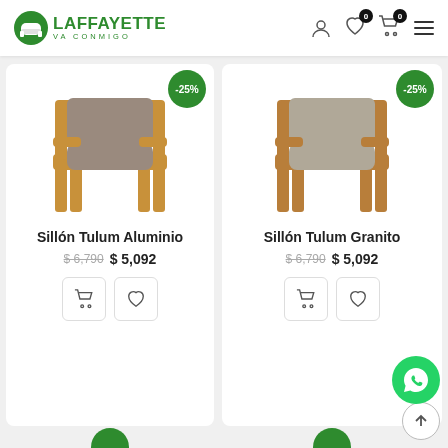[Figure (logo): Laffayette VA CONMIGO logo with green sofa icon and green text]
[Figure (screenshot): E-commerce product listing page showing two armchair products with discount badges, prices, and action buttons]
Sillón Tulum Aluminio
$ 6,790  $ 5,092
Sillón Tulum Granito
$ 6,790  $ 5,092